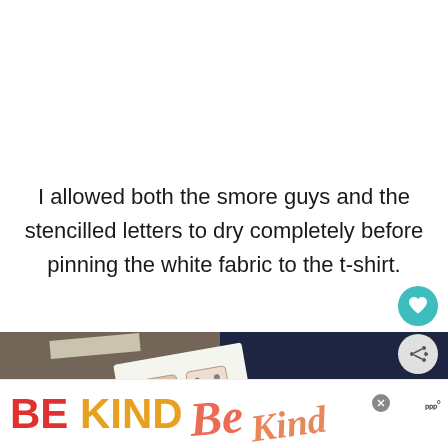I allowed both the smore guys and the stencilled letters to dry completely before pinning the white fabric to the t-shirt.
[Figure (photo): Dark navy t-shirt laid on a wooden surface with a white fabric piece (showing a printed design) pinned on top. A strip of tape is visible at top. Overlay UI elements include a teal heart button, a grey share button, and a 'What's Next' panel showing a thumbnail and 'S'more T-shirt Tutorial' label.]
[Figure (screenshot): Advertisement banner at bottom showing 'BE KIND' text in red and orange/yellow bold letters with decorative script overlay and a close button.]